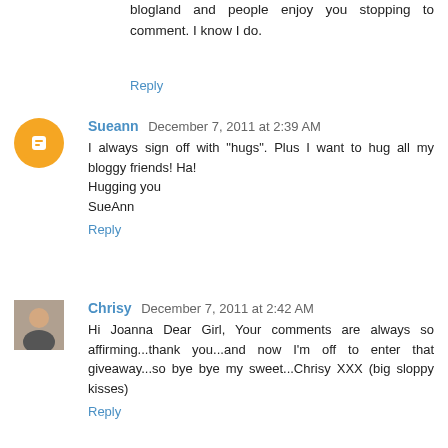blogland and people enjoy you stopping to comment. I know I do.
Reply
Sueann  December 7, 2011 at 2:39 AM
I always sign off with "hugs". Plus I want to hug all my bloggy friends! Ha!
Hugging you
SueAnn
Reply
Chrisy  December 7, 2011 at 2:42 AM
Hi Joanna Dear Girl, Your comments are always so affirming...thank you...and now I'm off to enter that giveaway...so bye bye my sweet...Chrisy XXX (big sloppy kisses)
Reply